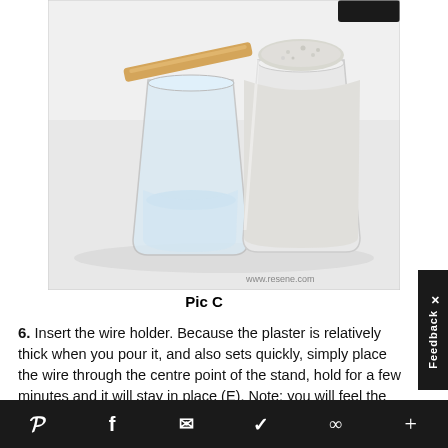[Figure (photo): Two clear plastic cups on a white surface. The left cup contains clear liquid with a wooden craft stick resting across the top. The right cup is filled with white/gray granular material (plaster powder). A watermark reads www.resene.com at the bottom right.]
Pic C
6. Insert the wire holder. Because the plaster is relatively thick when you pour it, and also sets quickly, simply place the wire through the centre point of the stand, hold for a few minutes and it will stay in place (E). Note: you will feel the plaster heating up as it sets and the paper tube may look
Pinterest  Facebook  Email  Twitter  Link  +